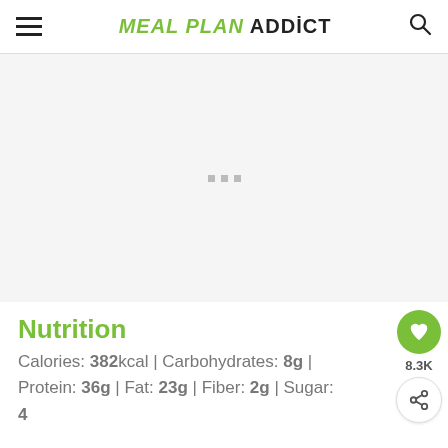MEAL PLAN ADDICT
[Figure (other): Advertisement placeholder area with three gray dots indicating loading]
Nutrition
Calories: 382kcal | Carbohydrates: 8g | Protein: 36g | Fat: 23g | Fiber: 2g | Sugar: 4